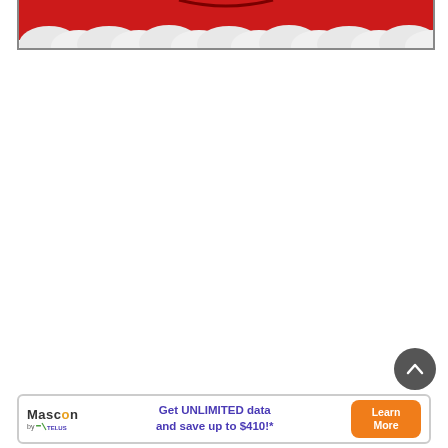[Figure (illustration): Partial illustration at top of page showing red and white cloud/holiday themed decorative graphic clipped at bottom of frame, within a bordered box]
[Figure (other): Circular dark grey back-to-top arrow button in bottom right corner]
[Figure (other): Mascon by TELUS advertisement banner: 'Get UNLIMITED data and save up to $410!*' with Learn More orange button]